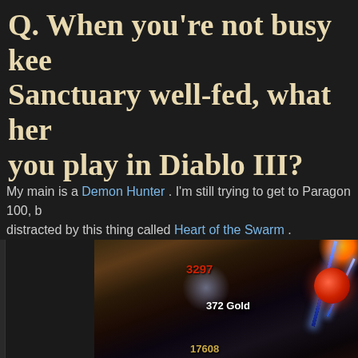Q. When you're not busy keeping Sanctuary well-fed, what hero do you play in Diablo III?
My main is a Demon Hunter . I'm still trying to get to Paragon 100, but I keep getting distracted by this thing called Heart of the Swarm .
[Figure (screenshot): Screenshot from Diablo III gameplay showing a character fighting with lightning effects, a red orb, damage number 3297, gold pickup text '372 Gold', and bottom UI number 17608]